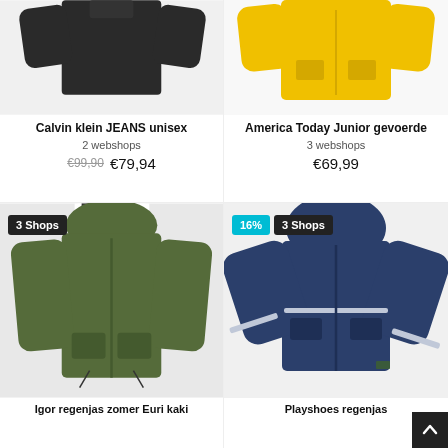[Figure (photo): Black Calvin Klein JEANS unisex jacket (partial, cropped at top)]
Calvin klein JEANS unisex
2 webshops
€99,90 €79,94
[Figure (photo): Yellow America Today Junior gevoerde jacket (partial, cropped at top)]
America Today Junior gevoerde
3 webshops
€69,99
[Figure (photo): Olive/khaki Igor regenjas zomer Euri kaki jacket with hood, badge: 3 Shops]
Igor regenjas zomer Euri kaki
[Figure (photo): Navy blue Playshoes regenjas with hood, badges: 16% and 3 Shops]
Playshoes regenjas